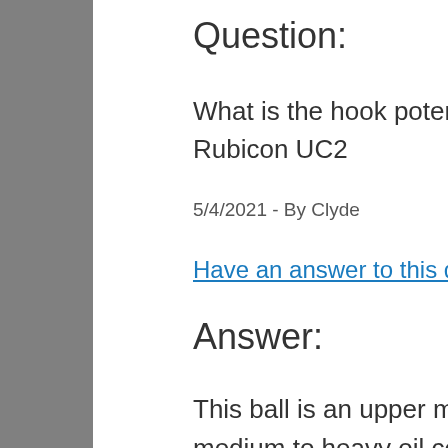Question:
What is the hook potential of the Rubicon UC2
5/4/2021 - By Clyde
Have an answer to this question?
Answer:
This ball is an upper mid performance ball designed to work in medium to heavy oil conditions. This ball will have a strong backend hook and read later on the lane. We also get the more specific